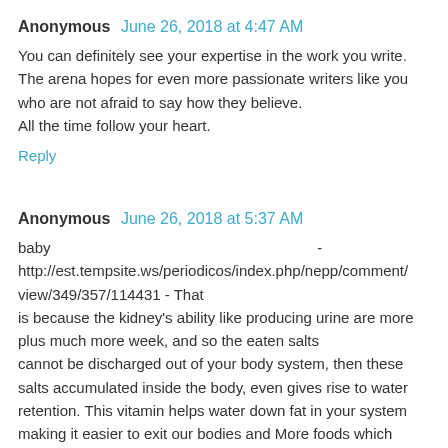Anonymous  June 26, 2018 at 4:47 AM
You can definitely see your expertise in the work you write. The arena hopes for even more passionate writers like you who are not afraid to say how they believe.
All the time follow your heart.
Reply
Anonymous  June 26, 2018 at 5:37 AM
baby - http://est.tempsite.ws/periodicos/index.php/nepp/comment/view/349/357/114431 - That is because the kidney's ability like producing urine are more plus much more week, and so the eaten salts cannot be discharged out of your body system, then these salts accumulated inside the body, even gives rise to water retention. This vitamin helps water down fat in your system making it easier to exit our bodies and More foods which help get